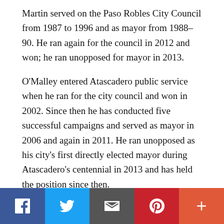Martin served on the Paso Robles City Council from 1987 to 1996 and as mayor from 1988–90. He ran again for the council in 2012 and won; he ran unopposed for mayor in 2013.
O'Malley entered Atascadero public service when he ran for the city council and won in 2002. Since then he has conducted five successful campaigns and served as mayor in 2006 and again in 2011. He ran unopposed as his city's first directly elected mayor during Atascadero's centennial in 2013 and has held the position since then.
For his personal life, Martin and his wife f…
[Figure (infographic): Social sharing bar with buttons for Facebook, Twitter, Email, Pinterest, and More (+)]